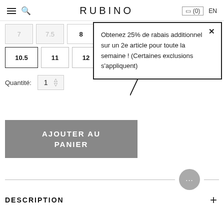RUBINO  (0)  EN
[Figure (screenshot): E-commerce product page showing size selector buttons (7, 7.5, 8, 10.5, 11, 12), quantity selector set to 1, a tooltip popup with promotional text, an Add to Cart button, a chat widget, and a Description section.]
Obtenez 25% de rabais additionnel sur un 2e article pour toute la semaine ! (Certaines exclusions s'appliquent)
Quantité:  1
AJOUTER AU PANIER
DESCRIPTION